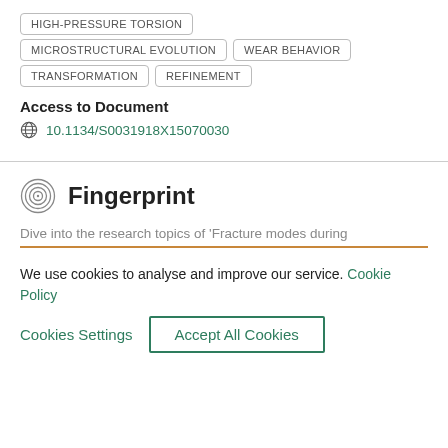HIGH-PRESSURE TORSION
MICROSTRUCTURAL EVOLUTION
WEAR BEHAVIOR
TRANSFORMATION
REFINEMENT
Access to Document
10.1134/S0031918X15070030
Fingerprint
Dive into the research topics of 'Fracture modes during
We use cookies to analyse and improve our service. Cookie Policy
Cookies Settings
Accept All Cookies